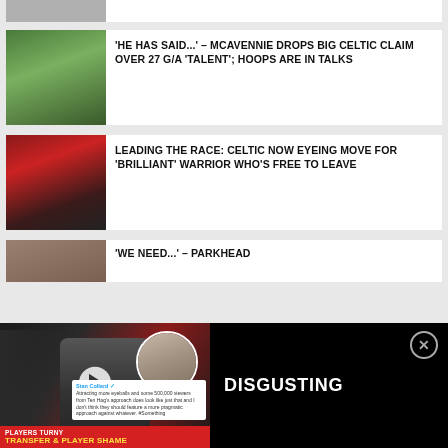[Figure (photo): Partial view of first article card at top of page]
'HE HAS SAID...' – MCAVENNIE DROPS BIG CELTIC CLAIM OVER 27 G/A 'TALENT'; HOOPS ARE IN TALKS
LEADING THE RACE: CELTIC NOW EYEING MOVE FOR 'BRILLIANT' WARRIOR WHO'S FREE TO LEAVE
'WE NEED...' – PARKHEAD
[Figure (screenshot): Video overlay at bottom showing two people, one with beard (Ten Hag), Twitter text, and red banner reading PLAYERS TURNY / TRANSFER & PLAYER SHAME. Title reads DISGUSTING.]